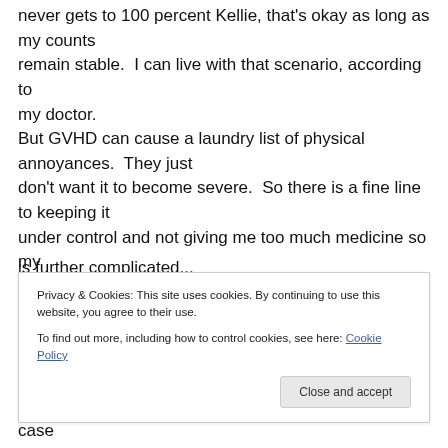never gets to 100 percent Kellie, that's okay as long as my counts remain stable.  I can live with that scenario, according to my doctor. But GVHD can cause a laundry list of physical annoyances.  They just don't want it to become severe.  So there is a fine line to keeping it under control and not giving me too much medicine so my immune system
Privacy & Cookies: This site uses cookies. By continuing to use this website, you agree to their use.
To find out more, including how to control cookies, see here: Cookie Policy
Close and accept
The main line treatment is low-dose steroids, in my case